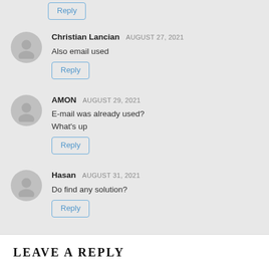Reply (top, cropped)
Christian Lancian AUGUST 27, 2021 — Also email used
Reply
AMON AUGUST 29, 2021 — E-mail was already used? What's up
Reply
Hasan AUGUST 31, 2021 — Do find any solution?
Reply
LEAVE A REPLY